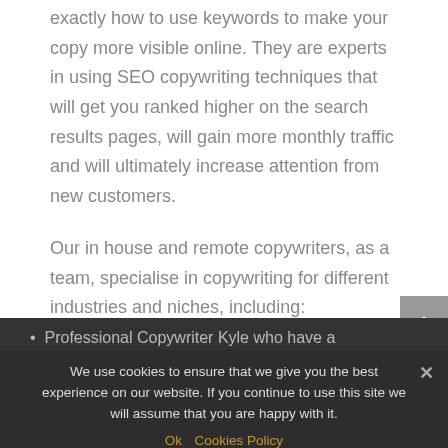exactly how to use keywords to make your copy more visible online. They are experts in using SEO copywriting techniques that will get you ranked higher on the search results pages, will gain more monthly traffic and will ultimately increase attention from new customers.
Our in house and remote copywriters, as a team, specialise in copywriting for different industries and niches, including:
Professional Copywriter Kyle who have a background in...
specialists.
Writers with a degree in English Literature.
We use cookies to ensure that we give you the best experience on our website. If you continue to use this site we will assume that you are happy with it.